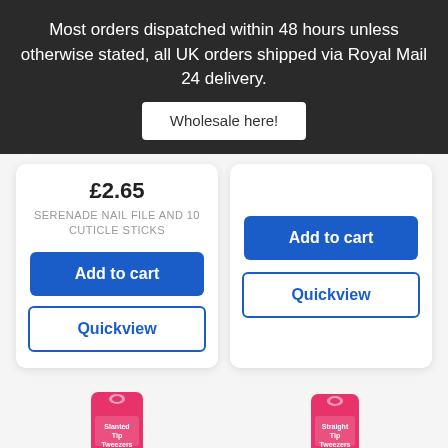Most orders dispatched within 48 hours unless otherwise stated, all UK orders shipped via Royal Mail 24 delivery.
Wholesale here!
£2.65
SERENADE NAIL FILE AND 10 CUTICLE STICKS
Add to cart
Quickview
Add to cart
Quickview
[Figure (photo): Pink packaged slanted tip tweezers product]
[Figure (photo): Pink packaged straight tip tweezers product]